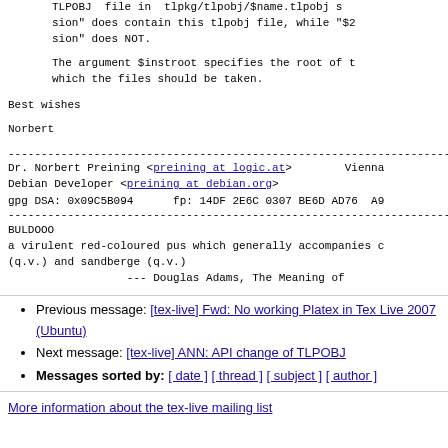TLPOBJ  file in  tlpkg/tlpobj/$name.tlpobj  s
sion" does contain this tlpobj file, while "$2
sion" does NOT.
The argument $instroot specifies the root of t
which the files should be taken.
Best wishes
Norbert
------------------------------------------------------------------------
Dr. Norbert Preining <preining at logic.at>        Vienna
Debian Developer <preining at debian.org>
gpg DSA: 0x09C5B094      fp: 14DF 2E6C 0307 BE6D AD76  A9
------------------------------------------------------------------------
BULDOOO
a virulent red-coloured pus which generally accompanies c
(q.v.) and sandberge (q.v.)
                --- Douglas Adams, The Meaning of
Previous message: [tex-live] Fwd: No working Platex in Tex Live 2007 (Ubuntu)
Next message: [tex-live] ANN: API change of TLPOBJ
Messages sorted by: [ date ] [ thread ] [ subject ] [ author ]
More information about the tex-live mailing list